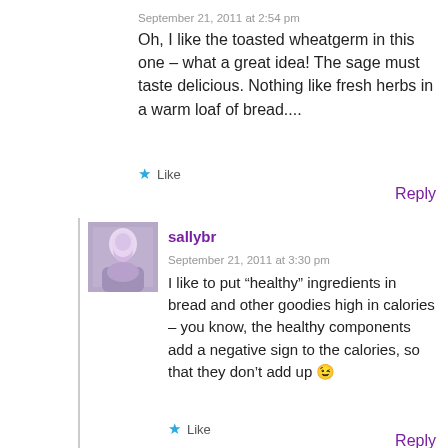September 21, 2011 at 2:54 pm
Oh, I like the toasted wheatgerm in this one – what a great idea! The sage must taste delicious. Nothing like fresh herbs in a warm loaf of bread....
★ Like
Reply
sallybr
September 21, 2011 at 3:30 pm
I like to put “healthy” ingredients in bread and other goodies high in calories – you know, the healthy components add a negative sign to the calories, so that they don’t add up 😉
★ Like
Reply